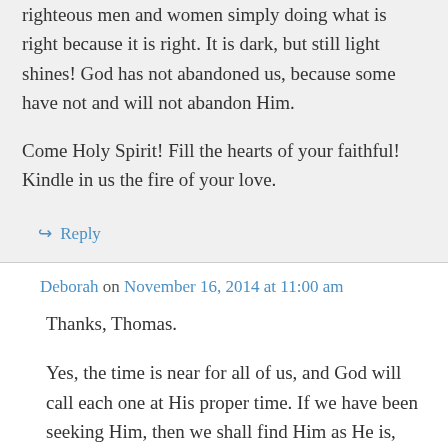righteous men and women simply doing what is right because it is right. It is dark, but still light shines! God has not abandoned us, because some have not and will not abandon Him.
Come Holy Spirit! Fill the hearts of your faithful! Kindle in us the fire of your love.
↪ Reply
Deborah on November 16, 2014 at 11:00 am
Thanks, Thomas.
Yes, the time is near for all of us, and God will call each one at His proper time. If we have been seeking Him, then we shall find Him as He is,